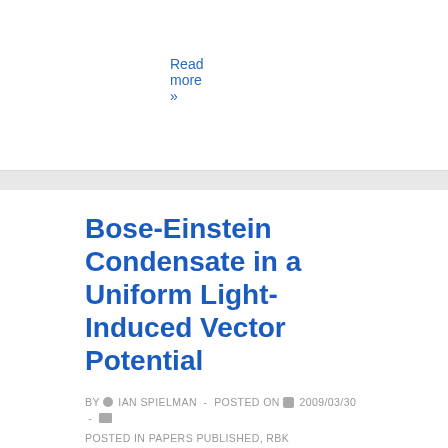Read more »
Bose-Einstein Condensate in a Uniform Light-Induced Vector Potential
BY  IAN SPIELMAN  -  POSTED ON  2009/03/30  -  POSTED IN PAPERS PUBLISHED, RBK
We use a two-photon dressing field to create an effective vector gauge potential for Bose-Einstein-condensed 87Rb atoms in the F=1 hyperfine ground state. These Raman-dressed states are spin and momentum superpositions, and we